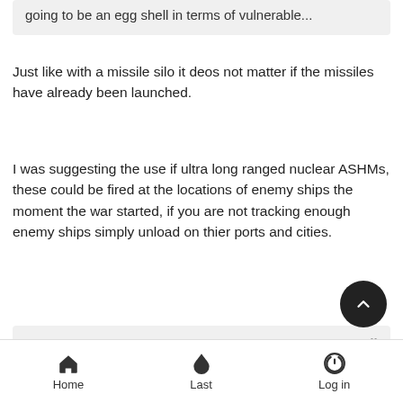going to be an egg shell in terms of vulnerable...
Just like with a missile silo it deos not matter if the missiles have already been launched.
I was suggesting the use if ultra long ranged nuclear ASHMs, these could be fired at the locations of enemy ships the moment the war started, if you are not tracking enough enemy ships simply unload on thier ports and cities.
GarryB wrote: Yes... because what ever you do to achieve it... they will eventually be able to do that too and parity will be restored... now everyone will have mach 20 hypersonic manoeuvring anti ship missiles... and MAD is restored.
Home   Last   Log in